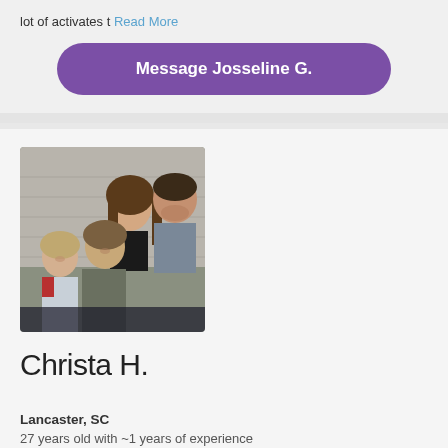lot of activates t Read More
Message Josseline G.
[Figure (photo): Family photo showing two adults and two young children posing together outdoors near a building]
Christa H.
Lancaster, SC
27 years old with ~1 years of experience